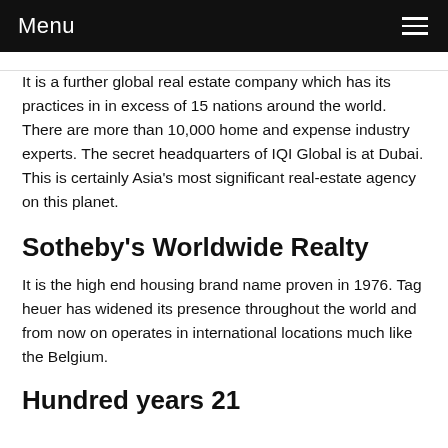Menu
It is a further global real estate company which has its practices in in excess of 15 nations around the world. There are more than 10,000 home and expense industry experts. The secret headquarters of IQI Global is at Dubai. This is certainly Asia’s most significant real-estate agency on this planet.
Sotheby’s Worldwide Realty
It is the high end housing brand name proven in 1976. Tag heuer has widened its presence throughout the world and from now on operates in international locations much like the Belgium.
Hundred years 21